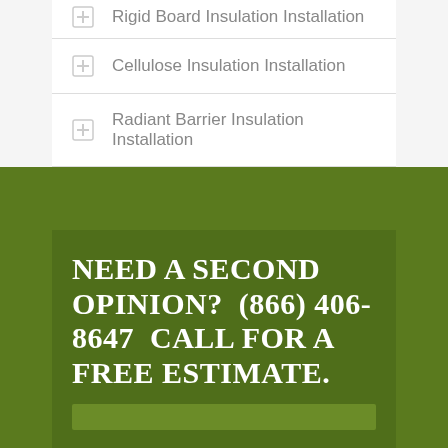Rigid Board Insulation Installation
Cellulose Insulation Installation
Radiant Barrier Insulation Installation
NEED A SECOND OPINION?  (866) 406-8647  CALL FOR A FREE ESTIMATE.